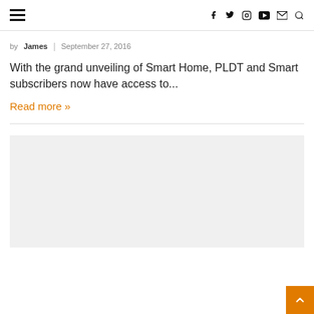Navigation bar with hamburger menu and social icons: f (Facebook), Twitter bird, Instagram, YouTube, Mail, Search
by James | September 27, 2016
With the grand unveiling of Smart Home, PLDT and Smart subscribers now have access to...
Read more »
[Figure (other): Gray advertisement placeholder block]